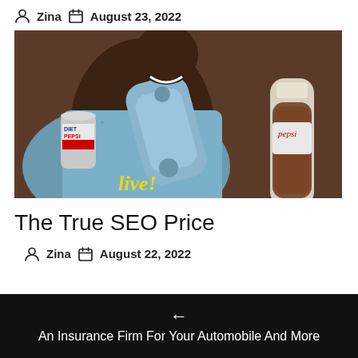Zina  August 23, 2022
[Figure (photo): Vintage Pepsi advertisement showing a person drinking from a bottle and holding a Diet Pepsi can, with a Pepsi glass bottle visible. Yellow text 'live!' at bottom.]
The True SEO Price
Zina  August 22, 2022
[Figure (infographic): Navigation banner with black background, left arrow, and text: An Insurance Firm For Your Automobile And More]